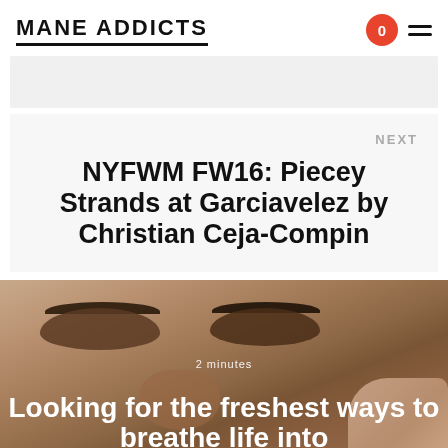MANE ADDICTS
NEXT
NYFWM FW16: Piecey Strands at Garciavelez by Christian Ceja-Compin
2 minutes
Looking for the freshest ways to breathe life into